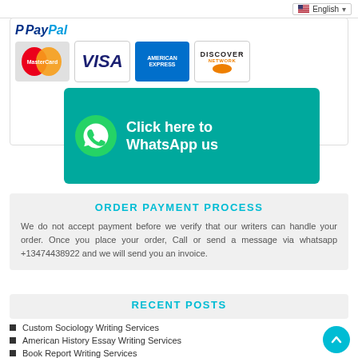[Figure (screenshot): Language selector showing English with flag dropdown]
[Figure (logo): PayPal logo with MasterCard, Visa, American Express, and Discover payment card logos]
[Figure (infographic): WhatsApp CTA banner: Click here to WhatsApp us, teal background with WhatsApp icon]
ORDER PAYMENT PROCESS
We do not accept payment before we verify that our writers can handle your order. Once you place your order, Call or send a message via whatsapp +13474438922 and we will send you an invoice.
RECENT POSTS
Custom Sociology Writing Services
American History Essay Writing Services
Book Report Writing Services